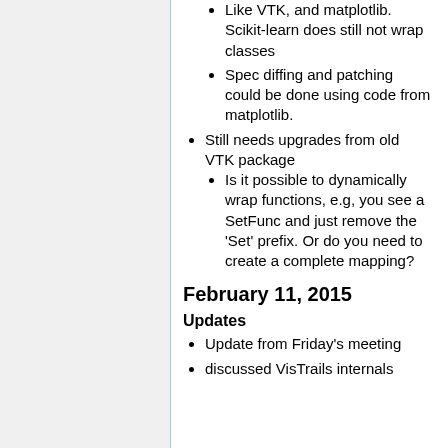Like VTK, and matplotlib. Scikit-learn does still not wrap classes
Spec diffing and patching could be done using code from matplotlib.
Still needs upgrades from old VTK package
Is it possible to dynamically wrap functions, e.g, you see a SetFunc and just remove the 'Set' prefix. Or do you need to create a complete mapping?
February 11, 2015
Updates
Update from Friday's meeting
discussed VisTrails internals